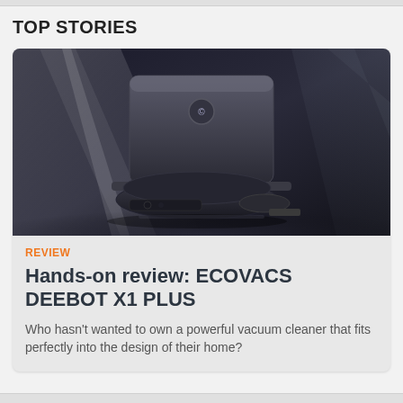TOP STORIES
[Figure (photo): ECOVACS DEEBOT X1 PLUS robot vacuum cleaner with charging base station on dark reflective surface with dramatic lighting]
REVIEW
Hands-on review: ECOVACS DEEBOT X1 PLUS
Who hasn't wanted to own a powerful vacuum cleaner that fits perfectly into the design of their home?